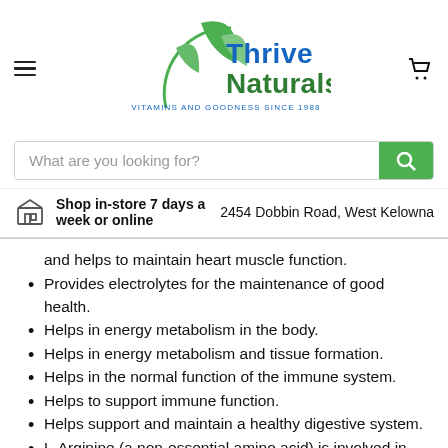Thrive Naturals — VITAMINS AND GOODNESS SINCE 1988
What are you looking for?
Shop in-store 7 days a week or online — 2454 Dobbin Road, West Kelowna
and helps to maintain heart muscle function.
Provides electrolytes for the maintenance of good health.
Helps in energy metabolism in the body.
Helps in energy metabolism and tissue formation.
Helps in the normal function of the immune system.
Helps to support immune function.
Helps support and maintain a healthy digestive system.
L-Arginine (a non-essential amino acid) is involved in protein synthesis.